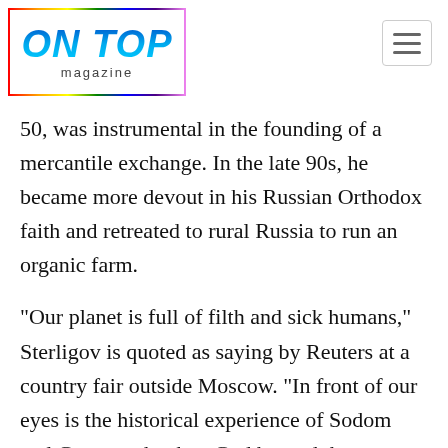ON TOP magazine
50, was instrumental in the founding of a mercantile exchange. In the late 90s, he became more devout in his Russian Orthodox faith and retreated to rural Russia to run an organic farm.
“Our planet is full of filth and sick humans,” Sterligov is quoted as saying by Reuters at a country fair outside Moscow. “In front of our eyes is the historical experience of Sodom and Gomorrrah when God burned these towns.”
Addressing the crowd, Sterligov praised President Donald Trump.
“We thank him. May God give him health,” he said